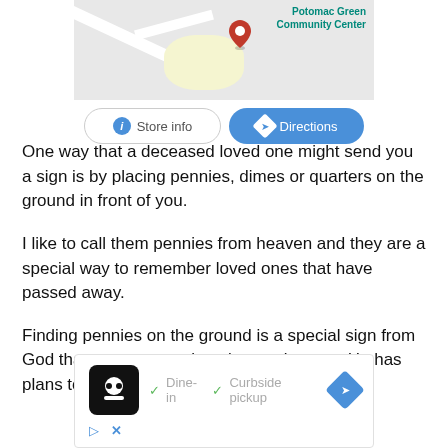[Figure (screenshot): Google Maps screenshot showing Potomac Green Community Center with a red location pin, with Store info and Directions buttons below]
One way that a deceased loved one might send you a sign is by placing pennies, dimes or quarters on the ground in front of you.
I like to call them pennies from heaven and they are a special way to remember loved ones that have passed away.
Finding pennies on the ground is a special sign from God that you are not alone in your journey. He has plans to
[Figure (screenshot): Advertisement overlay showing a restaurant logo with dine-in and curbside pickup options, with a directions arrow button]